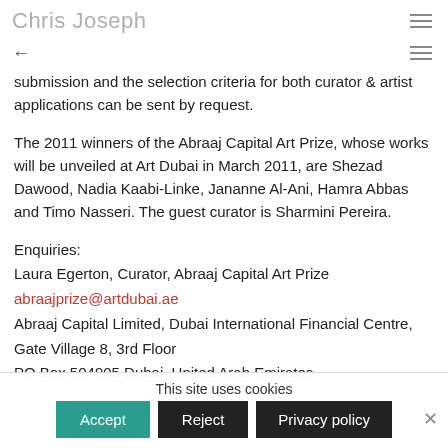Chris Joseph
submission and the selection criteria for both curator & artist applications can be sent by request.
The 2011 winners of the Abraaj Capital Art Prize, whose works will be unveiled at Art Dubai in March 2011, are Shezad Dawood, Nadia Kaabi-Linke, Jananne Al-Ani, Hamra Abbas and Timo Nasseri. The guest curator is Sharmini Pereira.
Enquiries:
Laura Egerton, Curator, Abraaj Capital Art Prize
abraajprize@artdubai.ae
Abraaj Capital Limited, Dubai International Financial Centre, Gate Village 8, 3rd Floor
PO Box 504905 Dubai, United Arab Emirates
This site uses cookies